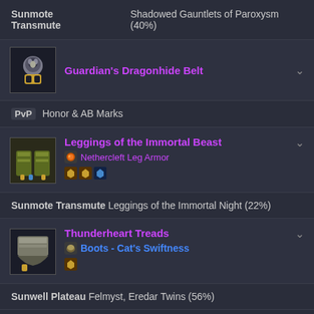Sunmote Transmute   Shadowed Gauntlets of Paroxysm (40%)
Guardian's Dragonhide Belt
PvP Honor & AB Marks
Leggings of the Immortal Beast — Nethercleft Leg Armor
Sunmote Transmute Leggings of the Immortal Night (22%)
Thunderheart Treads — Boots - Cat's Swiftness
Sunwell Plateau Felmyst, Eredar Twins (56%)